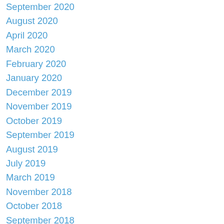September 2020
August 2020
April 2020
March 2020
February 2020
January 2020
December 2019
November 2019
October 2019
September 2019
August 2019
July 2019
March 2019
November 2018
October 2018
September 2018
August 2018
June 2018
March 2018
February 2018
January 2018